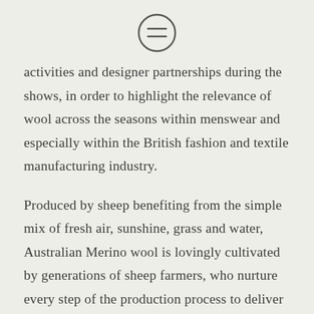[Figure (illustration): A circular icon with two horizontal parallel lines inside, resembling a menu or equality symbol, rendered in dark gray outline on a light background.]
activities and designer partnerships during the shows, in order to highlight the relevance of wool across the seasons within menswear and especially within the British fashion and textile manufacturing industry.
Produced by sheep benefiting from the simple mix of fresh air, sunshine, grass and water, Australian Merino wool is lovingly cultivated by generations of sheep farmers, who nurture every step of the production process to deliver one of the earth's finest and most precious fibres.